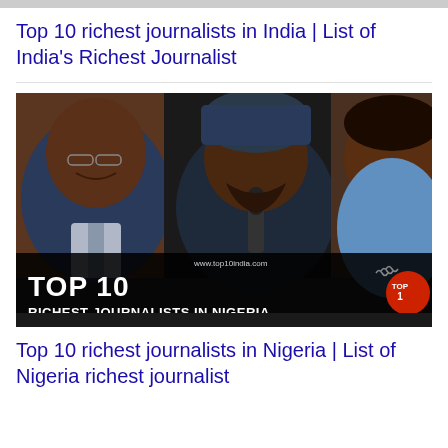Top 10 richest journalists in India | List of India's Richest Journalist
[Figure (photo): Thumbnail image showing three journalists. Bottom overlay text reads: www.top10india.com | TOP 10 | RICHEST JOURNALISTS IN NIGERIA | TOP10 INDIA logo]
Top 10 richest journalists in Nigeria | List of Nigeria richest journalist